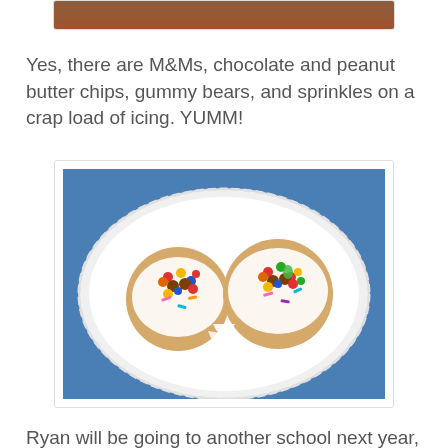[Figure (photo): Partial view of a photo showing a brown surface at the top of the page]
Yes, there are M&Ms, chocolate and peanut butter chips, gummy bears, and sprinkles on a crap load of icing. YUMM!
[Figure (photo): Two cookies on a white paper plate topped with icing, M&Ms, gummy bears, sprinkles, and peanut butter chips on a blue background]
Ryan will be going to another school next year, so I'm a little sad he'll be leaving his now familiar surroundings and some of his buddies, but I know he'll adjust well. He's good at making friends, plus he already has a good friend at his new school. I'm so proud of him. He's really come a long way this